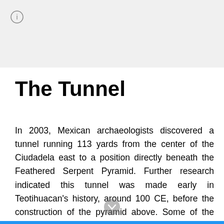[Figure (other): Gray header area at top of page with an info icon (circle with letter i) in the upper left corner]
The Tunnel
In 2003, Mexican archaeologists discovered a tunnel running 113 yards from the center of the Ciudadela east to a position directly beneath the Feathered Serpent Pyramid. Further research indicated this tunnel was made early in Teotihuacan's history, around 100 CE, before the construction of the pyramid above. Some of the tunnel walls sparkled; they had been embedded with a reflective mineral, pyrite. The